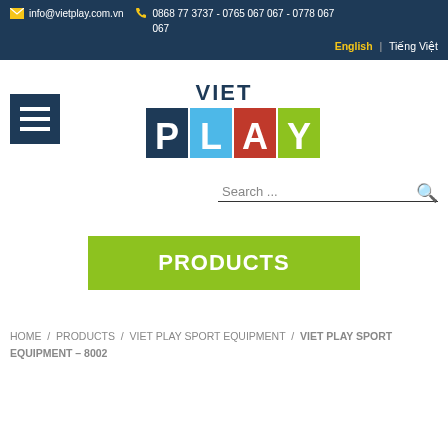info@vietplay.com.vn  0868 77 3737 - 0765 067 067 - 0778 067 067
English | Tiếng Việt
[Figure (logo): VietPlay logo with VIET in dark blue text and PLAY in colored blocks (P=dark blue, L=light blue, A=red, Y=green)]
Search ...
PRODUCTS
HOME / PRODUCTS / VIET PLAY SPORT EQUIPMENT / VIET PLAY SPORT EQUIPMENT – 8002